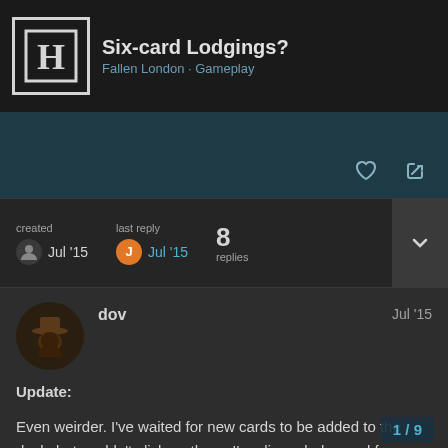Six-card Lodgings? — Fallen London · Gameplay
created Jul '15  last reply Jul '15  8 replies
dov  Jul '15
Update:
Even weirder. I've waited for new cards to be added to the deck, but couldn't click on them. I've discarded a card from my hand, clicked on the deck, and suddenly the “lost” Music Hall singer card re-appeared in my hand as the last card (basically, the “oldest” 5 cards of the 6 cards shown above now appeared).
I hope this is a preview of an upcoming 6-c
It's very visually appealing.
1 / 9